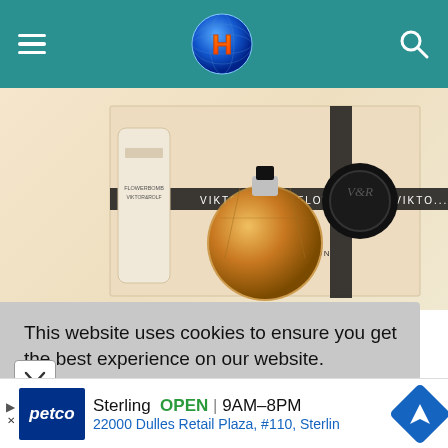Navigation bar with hamburger menu, H logo, and search icon
[Figure (photo): Viktor&Rolf Flowerbomb Travel Collection product photo showing a round faceted perfume bottle and body lotion tube in front of a beige gift box with black ribbon and wax seal. Text on box reads VIKTOR&ROLF TRAVEL COLLECTION and FLOWERBOMB VIKTOR&ROLF.]
This website uses cookies to ensure you get the best experience on our website.
learn more
[Figure (other): Petco advertisement banner showing Sterling store is OPEN 9AM–8PM at 22000 Dulles Retail Plaza, #110, Sterlin with a blue navigation arrow icon]